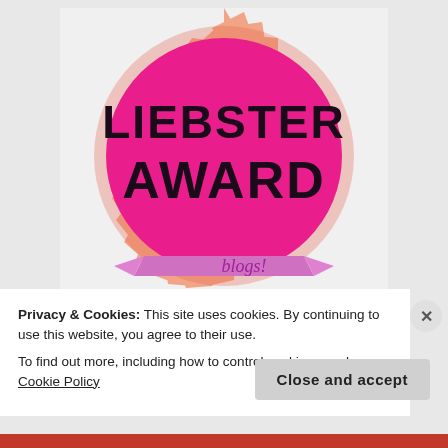[Figure (logo): Liebster Award badge — a magenta/pink circle with bold dark text 'LIEBSTER AWARD' on a peach/salmon sunburst background, with a pink ribbon banner at the bottom reading 'blogs!']
Privacy & Cookies: This site uses cookies. By continuing to use this website, you agree to their use.
To find out more, including how to control cookies, see here: Cookie Policy
Close and accept